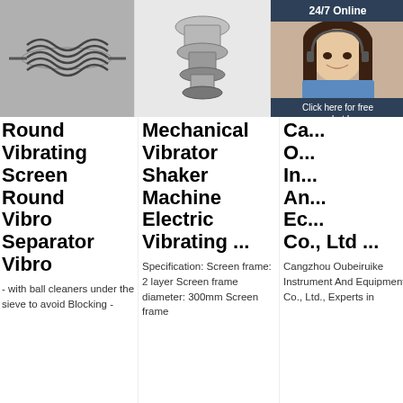[Figure (photo): Metal spring/screw conveyor component on grey background]
[Figure (photo): Mechanical vibrator shaker machine, stainless steel, on white background]
[Figure (photo): Round vibrating screen separator machine, stainless steel with orange motor]
[Figure (infographic): 24/7 Online chat widget with customer service representative and QUOTATION button]
Round Vibrating Screen Round Vibro Separator Vibro
Mechanical Vibrator Shaker Machine Electric Vibrating ...
Ca... O... In... An... Ec... Co., Ltd ...
- with ball cleaners under the sieve to avoid Blocking -
Specification: Screen frame: 2 layer Screen frame diameter: 300mm Screen frame
Cangzhou Oubeiruike Instrument And Equipment Co., Ltd., Experts in